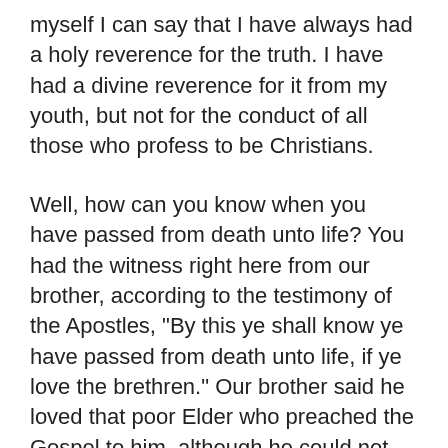myself I can say that I have always had a holy reverence for the truth. I have had a divine reverence for it from my youth, but not for the conduct of all those who profess to be Christians.
Well, how can you know when you have passed from death unto life? You had the witness right here from our brother, according to the testimony of the Apostles, "By this ye shall know ye have passed from death unto life, if ye love the brethren." Our brother said he loved that poor Elder who preached the Gospel to him, although he could not gain admittance into a decent house. Nobody would receive an Elder of Israel, nobody would receive a messenger bearing the words and keys of eternal life and salvation to the nations, but